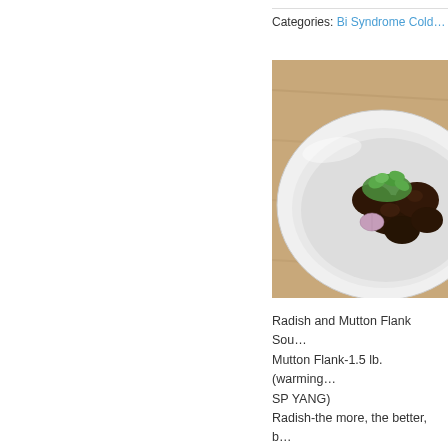Categories: Bi Syndrome Cold…
[Figure (photo): A white oval bowl on a wooden surface containing braised mutton flank pieces with fresh herbs and a small shallot]
Radish and Mutton Flank Sou… Mutton Flank-1.5 lb. (warming… SP YANG) Radish-the more, the better, b… moving)